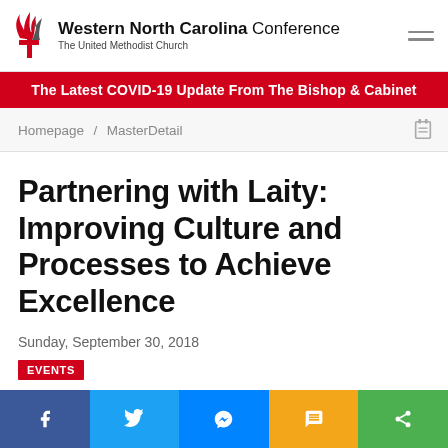Western North Carolina Conference — The United Methodist Church
The Latest COVID-19 Update From The Bishop & Cabinet
Homepage / MasterDetail
Partnering with Laity: Improving Culture and Processes to Achieve Excellence
Sunday, September 30, 2018
EVENTS